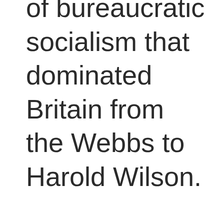of bureaucratic socialism that dominated Britain from the Webbs to Harold Wilson. The central focus of Dillow's critique